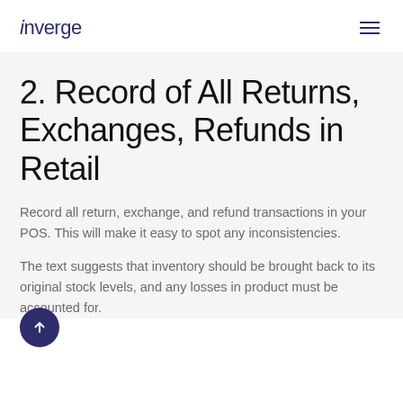inverge
2. Record of All Returns, Exchanges, Refunds in Retail
Record all return, exchange, and refund transactions in your POS. This will make it easy to spot any inconsistencies.
The text suggests that inventory should be brought back to its original stock levels, and any losses in product must be accounted for.